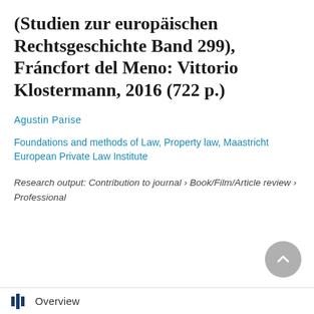(Studien zur europäischen Rechtsgeschichte Band 299), Fráncfort del Meno: Vittorio Klostermann, 2016 (722 p.)
Agustin Parise
Foundations and methods of Law, Property law, Maastricht European Private Law Institute
Research output: Contribution to journal › Book/Film/Article review › Professional
Overview